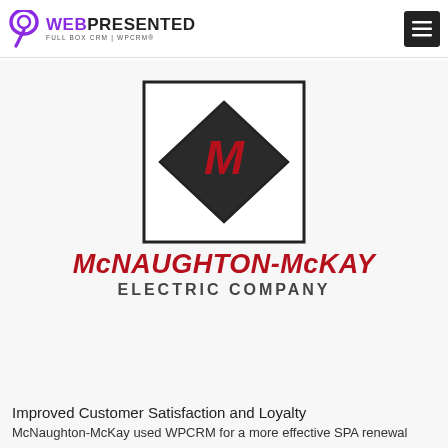WEBPRESENTED FULL BOX CRM | WPCRM®
[Figure (logo): McNaughton-McKay Electric Company logo: a square frame containing a diamond shape, with dark triangles at top and bottom and a red stylized M in the center, with the company name below in red italic and gray letters.]
Improved Customer Satisfaction and Loyalty
McNaughton-McKay used WPCRM for a more effective SPA renewal